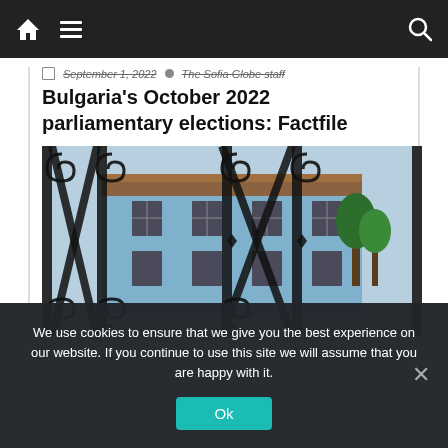Navigation bar with home, menu, and search icons
September 1, 2022  The Sofia Globe staff
Bulgaria's October 2022 parliamentary elections: Factfile
[Figure (photo): Photograph of an ornate wrought-iron gate with spiral scrollwork in the foreground, and a traditional blue Bulgarian building with multiple windows visible behind the gate, with trees to the right.]
We use cookies to ensure that we give you the best experience on our website. If you continue to use this site we will assume that you are happy with it.